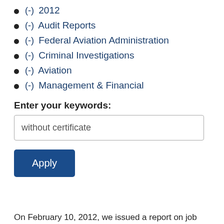(-) 2012
(-) Audit Reports
(-) Federal Aviation Administration
(-) Criminal Investigations
(-) Aviation
(-) Management & Financial
Enter your keywords:
without certificate
Apply
On February 10, 2012, we issued a report on job